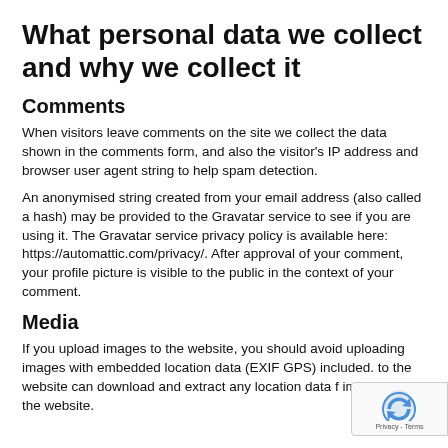What personal data we collect and why we collect it
Comments
When visitors leave comments on the site we collect the data shown in the comments form, and also the visitor's IP address and browser user agent string to help spam detection.
An anonymised string created from your email address (also called a hash) may be provided to the Gravatar service to see if you are using it. The Gravatar service privacy policy is available here: https://automattic.com/privacy/. After approval of your comment, your profile picture is visible to the public in the context of your comment.
Media
If you upload images to the website, you should avoid uploading images with embedded location data (EXIF GPS) included. to the website can download and extract any location data f images on the website.